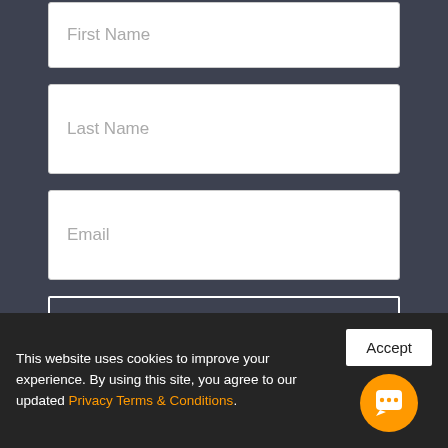First Name
Last Name
Email
Sign Up
FLOORING
This website uses cookies to improve your experience. By using this site, you agree to our updated Privacy Terms & Conditions.